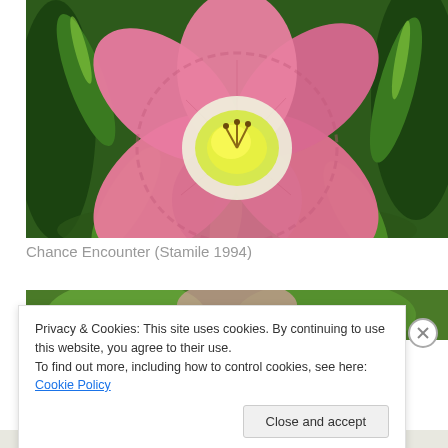[Figure (photo): Close-up photograph of a pink daylily flower with yellow-green center and stamens, surrounded by green foliage]
Chance Encounter (Stamile 1994)
[Figure (photo): Partial view of another flower/garden photograph visible behind the cookie banner]
Privacy & Cookies: This site uses cookies. By continuing to use this website, you agree to their use.
To find out more, including how to control cookies, see here: Cookie Policy
Close and accept